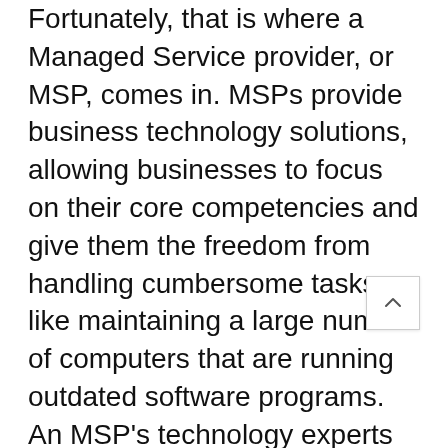Fortunately, that is where a Managed Service provider, or MSP, comes in. MSPs provide business technology solutions, allowing businesses to focus on their core competencies and give them the freedom from handling cumbersome tasks like maintaining a large number of computers that are running outdated software programs. An MSP's technology experts can handle these without any difficulties for your business, giving you improved productivity and allowing you to be more focused on what you do best.

In addition, an effective MSP takes a proactive approach to combat IT problems BEFORE they happen, thus